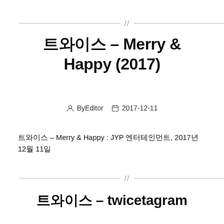트와이스 – Merry & Happy (2017)
By Editor  2017-12-11
트와이스 – Merry & Happy : JYP 엔터테인먼트, 2017년 12월 11일
트와이스 – twicetagram